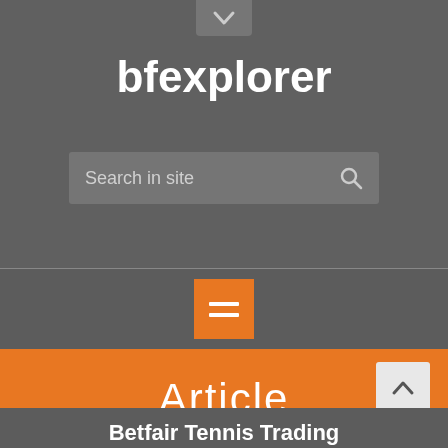[Figure (screenshot): bfexplorer website header screenshot showing site title, search bar, navigation hamburger menu, and Article section header]
bfexplorer
Search in site
Article
Betfair Tennis Trading